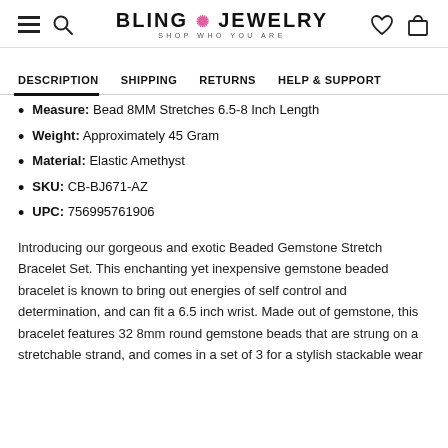BLING JEWELRY — SHOP WHO YOU ARE
DESCRIPTION | SHIPPING | RETURNS | HELP & SUPPORT
Measure: Bead 8MM Stretches 6.5-8 Inch Length
Weight: Approximately 45 Gram
Material: Elastic Amethyst
SKU: CB-BJ671-AZ
UPC: 756995761906
Introducing our gorgeous and exotic Beaded Gemstone Stretch Bracelet Set. This enchanting yet inexpensive gemstone beaded bracelet is known to bring out energies of self control and determination, and can fit a 6.5 inch wrist. Made out of gemstone, this bracelet features 32 8mm round gemstone beads that are strung on a stretchable strand, and comes in a set of 3 for a stylish stackable wear